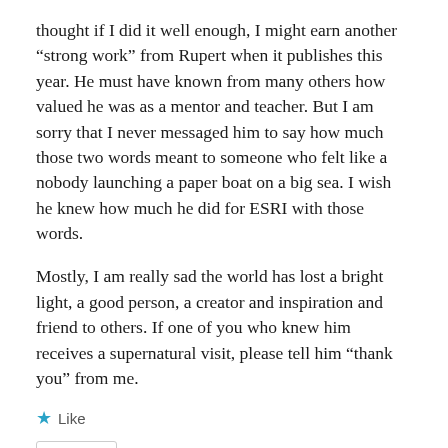thought if I did it well enough, I might earn another “strong work” from Rupert when it publishes this year. He must have known from many others how valued he was as a mentor and teacher. But I am sorry that I never messaged him to say how much those two words meant to someone who felt like a nobody launching a paper boat on a big sea. I wish he knew how much he did for ESRI with those words.
Mostly, I am really sad the world has lost a bright light, a good person, a creator and inspiration and friend to others. If one of you who knew him receives a supernatural visit, please tell him “thank you” from me.
★ Like
REPLY